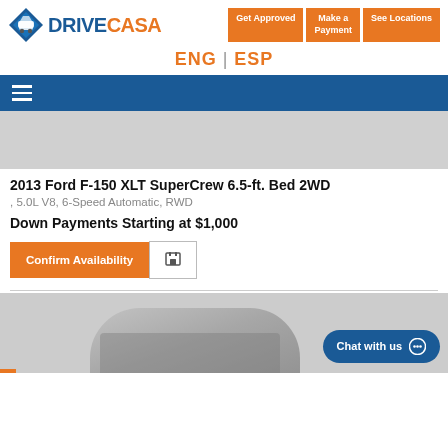[Figure (logo): DriveCasa logo with diamond icon and two-tone wordmark DRIVE in blue, CASA in orange]
Get Approved
Make a Payment
See Locations
ENG | ESP
[Figure (screenshot): Blue navigation bar with white hamburger menu icon]
[Figure (photo): Gray placeholder area representing car image]
2013 Ford F-150 XLT SuperCrew 6.5-ft. Bed 2WD
, 5.0L V8, 6-Speed Automatic, RWD
Down Payments Starting at $1,000
Confirm Availability
[Figure (photo): Bottom portion of a gray/dark pickup truck photo]
Chat with us